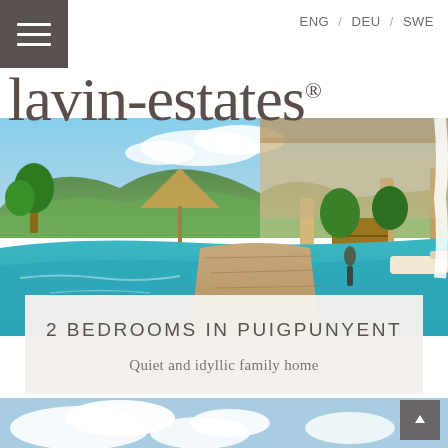lavin-estates®  ENG / DEU / SWE
[Figure (photo): Outdoor swimming pool area with turquoise water, wooden deck, tropical plants, mountains in background, and a terrace with wooden barrel and sun lounger.]
2 BEDROOMS IN PUIGPUNYENT
Quiet and idyllic family home
[Figure (photo): Partial view of blue sky with clouds at bottom of page.]